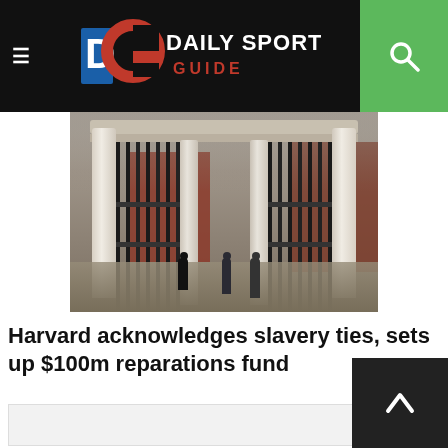Daily Sports Guide
[Figure (photo): Harvard University gate entrance with white columns, wrought iron gates, and brick buildings in the background. Pedestrians walking through the gate on a path.]
Harvard acknowledges slavery ties, sets up $100m reparations fund